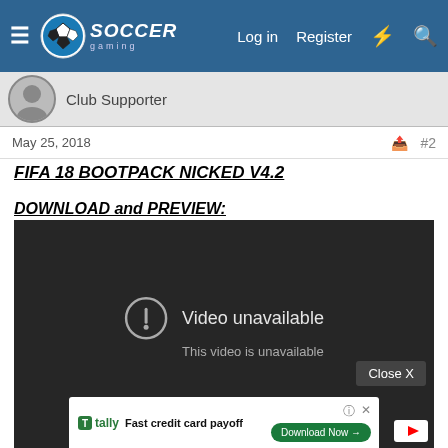Soccer Gaming — Log in | Register
Club Supporter
May 25, 2018  #2
FIFA 18 BOOTPACK NICKED V4.2
DOWNLOAD and PREVIEW:
[Figure (screenshot): Embedded YouTube video player showing 'Video unavailable — This video is unavailable' message with a 'Close X' button and a Tally advertisement bar at the bottom reading 'Fast credit card payoff' with a 'Download Now' button.]